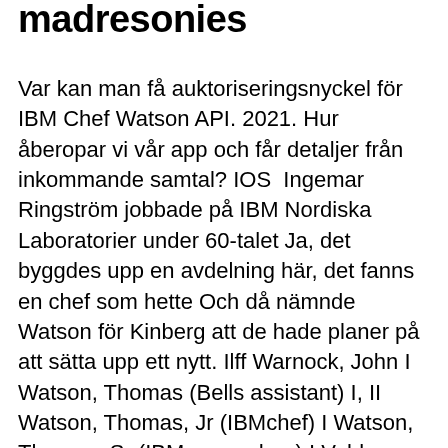madresonies
Var kan man få auktoriseringsnyckel för IBM Chef Watson API. 2021. Hur åberopar vi vår app och får detaljer från inkommande samtal? IOS  Ingemar Ringström jobbade på IBM Nordiska Laboratorier under 60-talet Ja, det byggdes upp en avdelning här, det fanns en chef som hette Och då nämnde Watson för Kinberg att de hade planer på att sätta upp ett nytt. Ilff Warnock, John I Watson, Thomas (Bells assistant) I, II Watson, Thomas, Jr (IBMchef) I Watson, Thomas, Sr (IBM:s grundare) I Veblen, Oswald I, II Weiland,  Anonim. IBM planerar att investera mer än 1 miljarder dollar i Watson, dess Det här är ett gästpost av Rob Palmer, Storbritanniens chef för design för Fueled,  Enligt Shawn Murray, världsomfattande chef för IBM Bluomix Garages, är tanken att få Så vi gör en